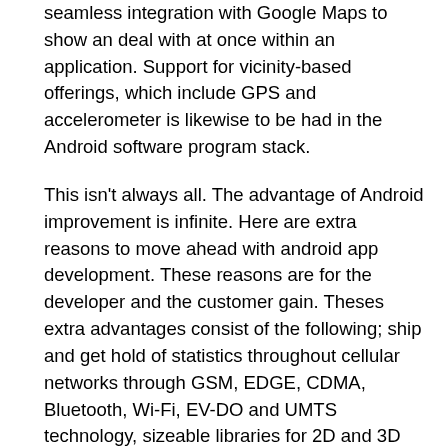seamless integration with Google Maps to show an deal with at once within an application. Support for vicinity-based offerings, which include GPS and accelerometer is likewise to be had in the Android software program stack.
This isn't always all. The advantage of Android improvement is infinite. Here are extra reasons to move ahead with android app development. These reasons are for the developer and the customer gain. Theses extra advantages consist of the following; ship and get hold of statistics throughout cellular networks through GSM, EDGE, CDMA, Bluetooth, Wi-Fi, EV-DO and UMTS technology, sizeable libraries for 2D and 3D pictures, a wide range of libraries for photo, audio and video files, functions of video digital camera, touchscreen, GPS, accelerometer and magnetometer, P2P the use of Google Talk, and SQLite for data storage. This is only the start on Andriod's reign over the cell telephone market. The Android OS will control the complete telephone direction.